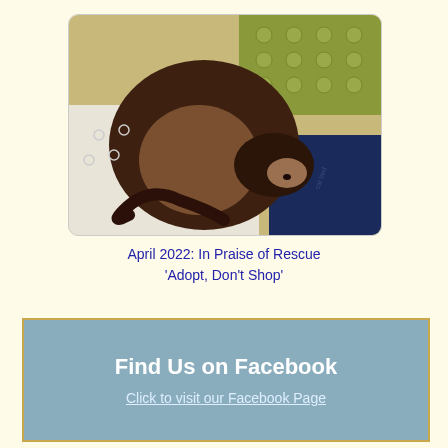[Figure (photo): A Siamese cat curled up sleeping on a cushion/blanket, viewed from above. The cat has dark brown/seal point coloring with lighter body fur, lying on what appears to be a white crocheted blanket and a dark blue pillow.]
April 2022: In Praise of Rescue
'Adopt, Don't Shop'
Find Us on Facebook
Click to visit our Facebook Page